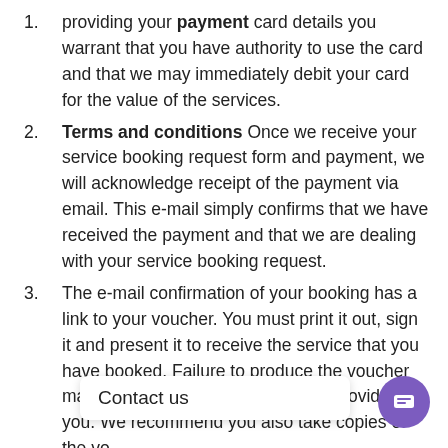providing your payment card details you warrant that you have authority to use the card and that we may immediately debit your card for the value of the services.
Terms and conditions Once we receive your service booking request form and payment, we will acknowledge receipt of the payment via email. This e-mail simply confirms that we have received the payment and that we are dealing with your service booking request.
The e-mail confirmation of your booking has a link to your voucher. You must print it out, sign it and present it to receive the service that you have booked. Failure to produce the voucher may result in the service not being provided to you. We recommend you also take copies of the voucher, the service booking rec[eipt] and [payment] confirmations with you on your trip to produce if required.